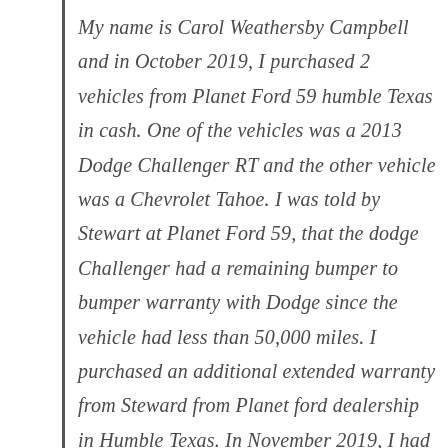My name is Carol Weathersby Campbell and in October 2019, I purchased 2 vehicles from Planet Ford 59 humble Texas in cash. One of the vehicles was a 2013 Dodge Challenger RT and the other vehicle was a Chevrolet Tahoe. I was told by Stewart at Planet Ford 59, that the dodge Challenger had a remaining bumper to bumper warranty with Dodge since the vehicle had less than 50,000 miles. I purchased an additional extended warranty from Steward from Planet ford dealership in Humble Texas. In November 2019, I had major throttle problems with the dodge Challenger. I was told to take the vehicle to Texan Dodge with Mrs. Sheffie. Once the